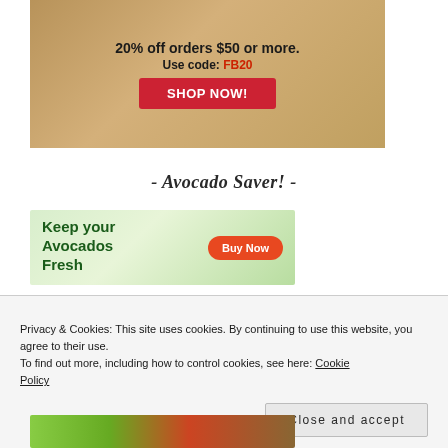[Figure (illustration): Jerky product advertisement banner showing jerky packages on wooden background with text '20% off orders $50 or more. Use code: FB20' and a red 'SHOP NOW!' button]
- Avocado Saver! -
[Figure (illustration): Avocado product advertisement with green background, text 'Keep your Avocados Fresh' in dark green, and an orange 'Buy Now' button]
Privacy & Cookies: This site uses cookies. By continuing to use this website, you agree to their use.
To find out more, including how to control cookies, see here: Cookie Policy
Close and accept
[Figure (photo): Bottom portion of an avocado/food image partially visible at the bottom of the page]